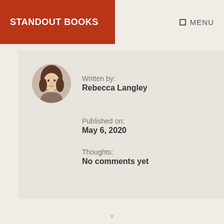STANDOUT BOOKS
☐ MENU
[Figure (photo): Circular portrait photo of a woman with dark hair]
Written by:
Rebecca Langley
Published on:
May 6, 2020
Thoughts:
No comments yet
x